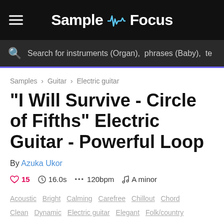SampleFocus
Search for instruments (Organ), phrases (Baby), te
Samples > Guitar > Electric guitar
"I Will Survive - Circle of Fifths" Electric Guitar - Powerful Loop
By Azuka Ukor
15  16.0s  120bpm  A minor
Acoustic  Bright  Calming  Carefree  Chillout  Chord  Clean  Dynamic  Electric guitar  Elegant  Folk/country